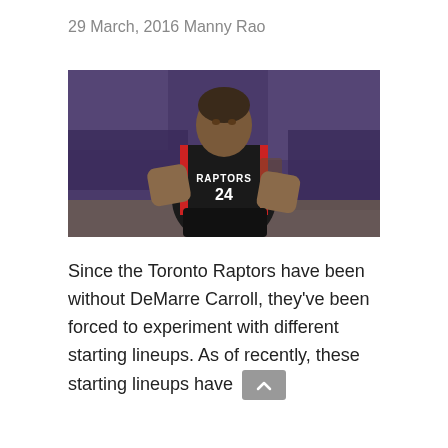29 March, 2016 Manny Rao
[Figure (photo): NBA player wearing Toronto Raptors black jersey number 24, standing with hands on hips, arena crowd blurred in background]
Since the Toronto Raptors have been without DeMarre Carroll, they’ve been forced to experiment with different starting lineups. As of recently, these starting lineups have